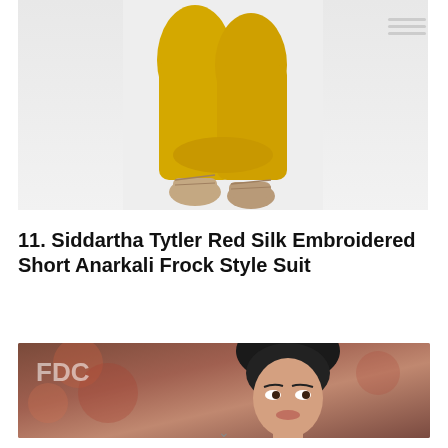[Figure (photo): Partial photo showing lower body of a model wearing yellow/mustard tights/leggings and decorative heeled sandals, with a green garment visible at top. Light gray background.]
11. Siddartha Tytler Red Silk Embroidered Short Anarkali Frock Style Suit
[Figure (photo): Partial photo of a fashion runway model with dark hair, wearing an embroidered outfit, with a floral/autumnal backdrop. Text 'FDC' visible in upper left.]